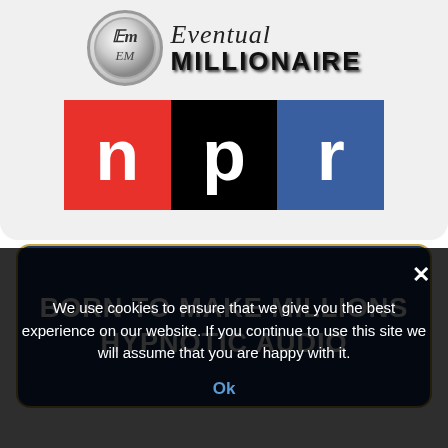[Figure (logo): Eventual Millionaire logo with EM circle emblem and stylized text, above NPR (National Public Radio) logo with three colored blocks: red N, black P, blue R]
[Figure (logo): Dark navy blue rounded rectangle banner with gold border reading BORN TO MAKE MILLIONS HYPNOTIC AUDIO]
We use cookies to ensure that we give you the best experience on our website. If you continue to use this site we will assume that you are happy with it.
Ok